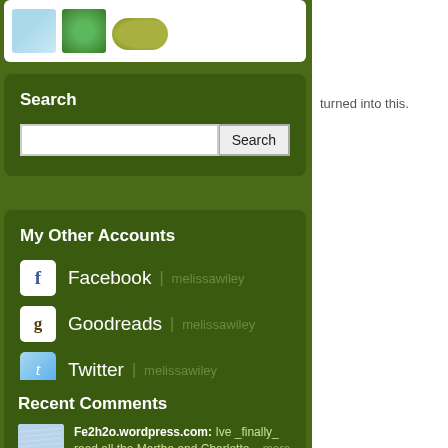[Figure (screenshot): Top image strip with three thumbnail images: a blue textured image, a green circular image, and an olive/green oval shape]
Search
[Figure (screenshot): Search input box with Search button]
My Other Accounts
Facebook | melissawiley
Goodreads | melissawiley
Twitter | melissawiley
Recent Comments
Fe2h2o.wordpress.com: Ive _finally_ read all the Martha and Charlotte... more
turned into this.